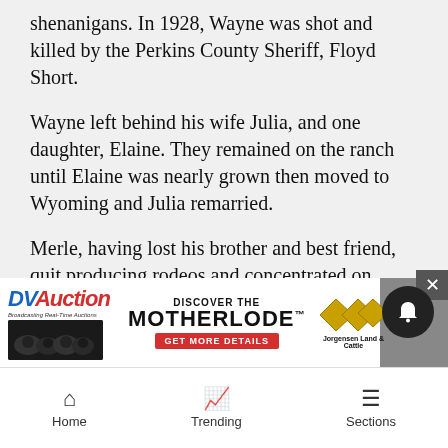shenanigans. In 1928, Wayne was shot and killed by the Perkins County Sheriff, Floyd Short.
Wayne left behind his wife Julia, and one daughter, Elaine. They remained on the ranch until Elaine was nearly grown then moved to Wyoming and Julia remarried.
Merle, having lost his brother and best friend, quit producing rodeos and concentrated on ranching along with his folks, Jack and Allie. They raised cattle, sheep and horses. The Remount program contributed to the quality of the horses on the ranch, and the Kelly's were always well mounted. They sold horses to the Remount until around 1949.
[Figure (infographic): Advertisement banner for DVAuction featuring 'Discover The Motherlode' with Jorgensen Land & Cattle logo and cattle photo]
Merle ... one son. H... ...h
Home   Trending   Sections